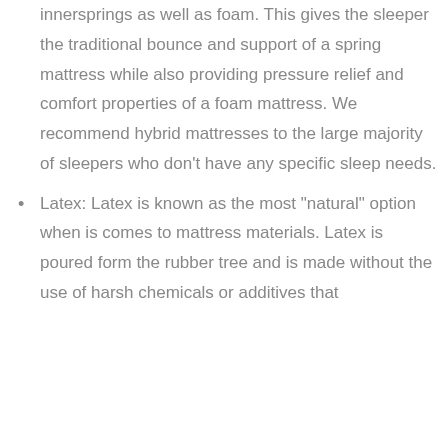innersprings as well as foam. This gives the sleeper the traditional bounce and support of a spring mattress while also providing pressure relief and comfort properties of a foam mattress. We recommend hybrid mattresses to the large majority of sleepers who don't have any specific sleep needs.
Latex: Latex is known as the most "natural" option when is comes to mattress materials. Latex is poured form the rubber tree and is made without the use of harsh chemicals or additives that